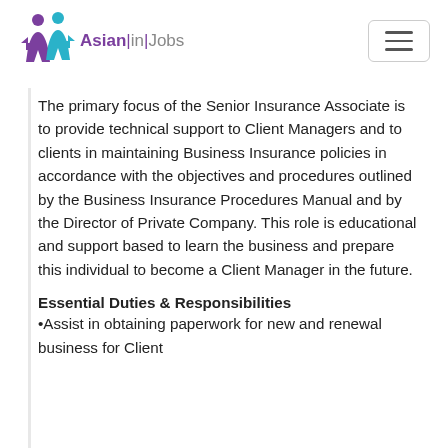Asian|in|Jobs
The primary focus of the Senior Insurance Associate is to provide technical support to Client Managers and to clients in maintaining Business Insurance policies in accordance with the objectives and procedures outlined by the Business Insurance Procedures Manual and by the Director of Private Company. This role is educational and support based to learn the business and prepare this individual to become a Client Manager in the future.
Essential Duties & Responsibilities
•Assist in obtaining paperwork for new and renewal business for Client